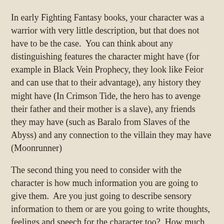In early Fighting Fantasy books, your character was a warrior with very little description, but that does not have to be the case.  You can think about any distinguishing features the character might have (for example in Black Vein Prophecy, they look like Feior and can use that to their advantage), any history they might have (In Crimson Tide, the hero has to avenge their father and their mother is a slave), any friends they may have (such as Baralo from Slaves of the Abyss) and any connection to the villain they may have (Moonrunner)
The second thing you need to consider with the character is how much information you are going to give them.  Are you just going to describe sensory information to them or are you going to write thoughts, feelings and speech for the character too?  How much role playing will you leave to the reader?  Just having sensory information can be boring but if you have the character think and say a lot then this enforced role play cannot cut out the reader's choices.
Villains